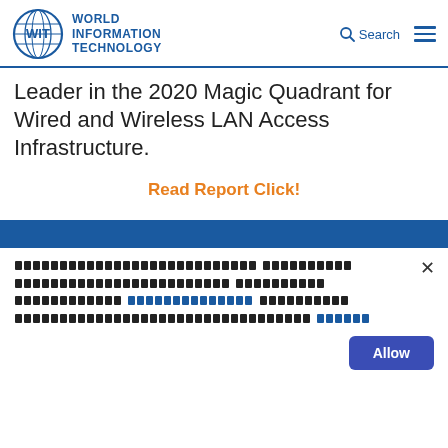World Information Technology
Leader in the 2020 Magic Quadrant for Wired and Wireless LAN Access Infrastructure.
Read Report Click!
[Cookie consent banner with Thai script text and Allow button]